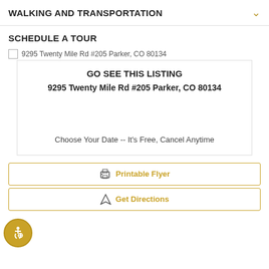WALKING AND TRANSPORTATION
SCHEDULE A TOUR
[Figure (screenshot): Broken image placeholder with alt text: 9295 Twenty Mile Rd #205 Parker, CO 80134]
GO SEE THIS LISTING
9295 Twenty Mile Rd #205 Parker, CO 80134
Choose Your Date -- It's Free, Cancel Anytime
Printable Flyer
Get Directions